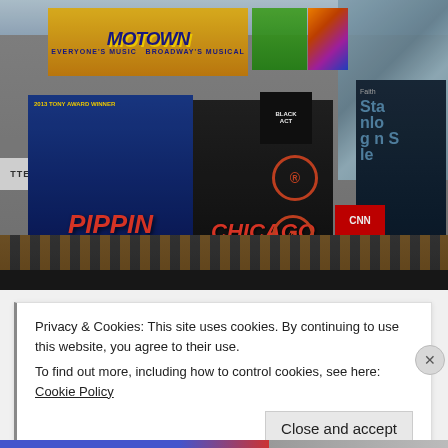[Figure (photo): Photograph of Times Square in New York City showing multiple Broadway show billboards including Motown The Musical, Pippin (2013 Tony Award Winner), and Chicago, along with other urban signage and buildings. Street level shows fencing and construction.]
Privacy & Cookies: This site uses cookies. By continuing to use this website, you agree to their use.
To find out more, including how to control cookies, see here: Cookie Policy
Close and accept